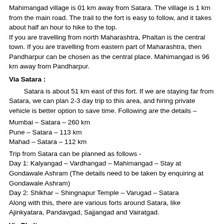Mahimangad village is 01 km away from Satara. The village is 1 km from the main road. The trail to the fort is easy to follow, and it takes about half an hour to hike to the top.
If you are travelling from north Maharashtra, Phaltan is the central town. If you are travelling from eastern part of Maharashtra, then Pandharpur can be chosen as the central place. Mahimangad is 96 km away from Pandharpur.
Via Satara :
Satara is about 51 km east of this fort. If we are staying far from Satara, we can plan 2-3 day trip to this area, and hiring private vehicle is better option to save time. Following are the details –
Mumbai – Satara – 260 km
Pune – Satara – 113 km
Mahad – Satara – 112 km
Trip from Satara can be planned as follows -
Day 1: Kalyangad – Vardhangad – Mahimangad – Stay at Gondawale Ashram (The details need to be taken by enquiring at Gondawale Ashram)
Day 2: Shikhar – Shingnapur Temple – Varugad – Satara
Along with this, there are various forts around Satara, like Ajinkyatara, Pandavgad, Sajjangad and Vairatgad.
Via Phaltan: :
Phaltan is 52 km north of Mahimangad. The itinerary above can be covered by shuffling the places in the above itinerary.
Accommodation Facility :